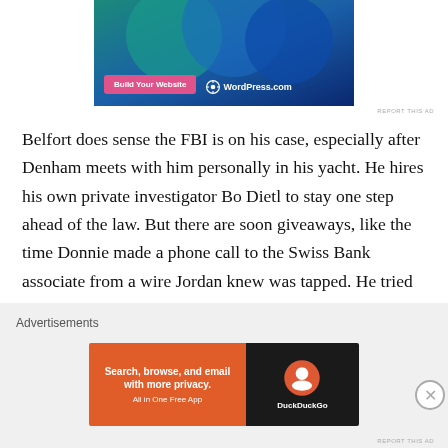[Figure (screenshot): WordPress.com advertisement banner with teal and blue gradient background, pink 'Build Your Website' button and WordPress.com logo in white]
REPORT THIS AD
Belfort does sense the FBI is on his case, especially after Denham meets with him personally in his yacht. He hires his own private investigator Bo Dietl to stay one step ahead of the law. But there are soon giveaways, like the time Donnie made a phone call to the Swiss Bank associate from a wire Jordan knew was tapped. He tried to stop him but the seemingly-weak Quaaludes given by Donnie suddenly kick in. By the time he tries to stop Donnie, Donnie himself his high
Advertisements
[Figure (screenshot): DuckDuckGo advertisement: orange left panel with 'Search, browse, and email with more privacy. All in One Free App' text, dark right panel with DuckDuckGo logo]